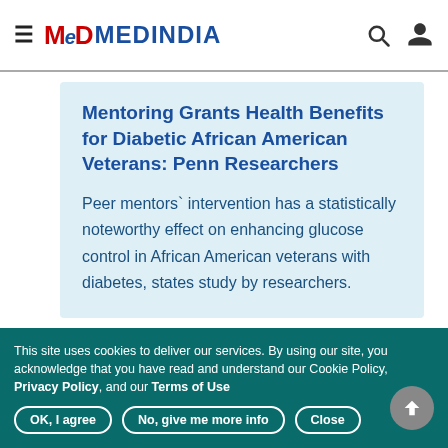MedIndia
Mentoring Grants Health Benefits for Diabetic African American Veterans: Penn Researchers
Peer mentors` intervention has a statistically noteworthy effect on enhancing glucose control in African American veterans with diabetes, states study by researchers.
This site uses cookies to deliver our services. By using our site, you acknowledge that you have read and understand our Cookie Policy, Privacy Policy, and our Terms of Use